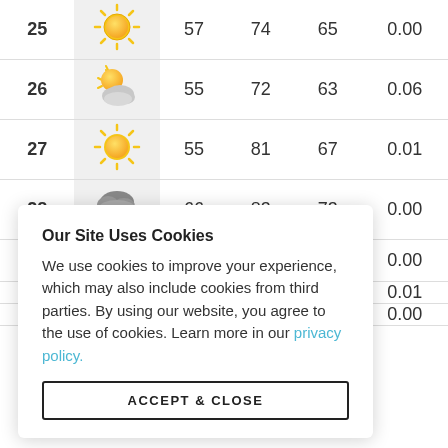| Day | Icon | Low | High | Avg | Precip |
| --- | --- | --- | --- | --- | --- |
| 25 | sunny | 57 | 74 | 65 | 0.00 |
| 26 | partly-cloudy | 55 | 72 | 63 | 0.06 |
| 27 | sunny | 55 | 81 | 67 | 0.01 |
| 28 | thunderstorm | 66 | 83 | 73 | 0.00 |
| 29 | sunny | — | — | — | 0.00 |
| 30 | — | — | — | — | 0.01 |
| 31 | — | — | — | — | 0.00 |
Our Site Uses Cookies
We use cookies to improve your experience, which may also include cookies from third parties. By using our website, you agree to the use of cookies. Learn more in our privacy policy.